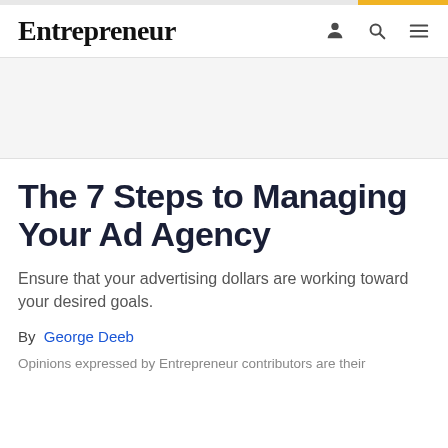Entrepreneur
The 7 Steps to Managing Your Ad Agency
Ensure that your advertising dollars are working toward your desired goals.
By George Deeb
Opinions expressed by Entrepreneur contributors are their